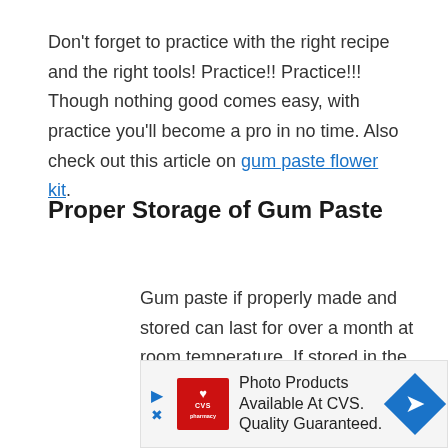Don't forget to practice with the right recipe and the right tools! Practice!! Practice!!! Though nothing good comes easy, with practice you'll become a pro in no time. Also check out this article on gum paste flower kit.
Proper Storage of Gum Paste
Gum paste if properly made and stored can last for over a month at room temperature. If stored in the fridge it can last for up to six months. If you make gum paste flowers at regular intervals you can make double or triple the
[Figure (infographic): CVS Pharmacy advertisement banner: 'Photo Products Available At CVS. Quality Guaranteed.' with CVS logo on left and blue diamond arrow on right.]